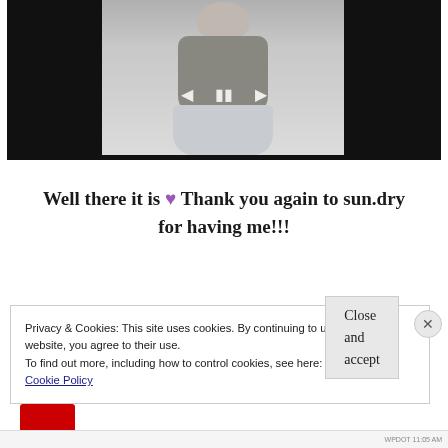[Figure (photo): A photo/video player showing a person wearing a grey top and light-coloured skirt, with video playback controls (back, pause, forward) overlaid. The image has a black background on either side.]
Well there it is 💜 Thank you again to sun.dry for having me!!!
Privacy & Cookies: This site uses cookies. By continuing to use this website, you agree to their use.
To find out more, including how to control cookies, see here:
Cookie Policy

Close and accept